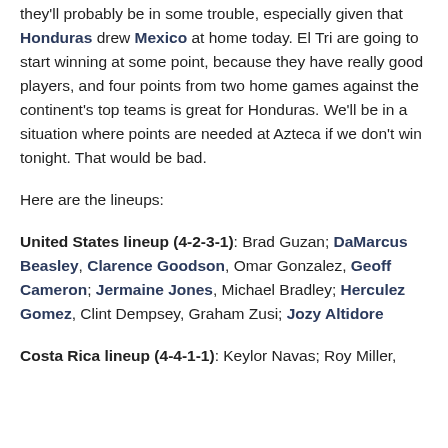they'll probably be in some trouble, especially given that Honduras drew Mexico at home today. El Tri are going to start winning at some point, because they have really good players, and four points from two home games against the continent's top teams is great for Honduras. We'll be in a situation where points are needed at Azteca if we don't win tonight. That would be bad.
Here are the lineups:
United States lineup (4-2-3-1): Brad Guzan; DaMarcus Beasley, Clarence Goodson, Omar Gonzalez, Geoff Cameron; Jermaine Jones, Michael Bradley; Herculez Gomez, Clint Dempsey, Graham Zusi; Jozy Altidore
Costa Rica lineup (4-4-1-1): Keylor Navas; Roy Miller,